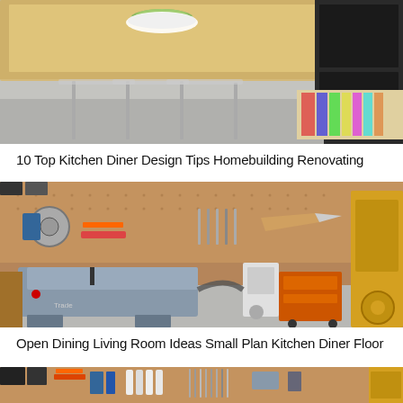[Figure (photo): Kitchen diner interior with light wood table, clear acrylic chairs, dark cabinetry, and a colorful rug in the background on a grey floor.]
10 Top Kitchen Diner Design Tips Homebuilding Renovating
[Figure (photo): Workshop/garage interior with a large pegboard wall covered in tools, a table saw in the foreground, an orange rolling workbench, and a yellow band saw on the right.]
Open Dining Living Room Ideas Small Plan Kitchen Diner Floor
[Figure (photo): Close-up of the workshop pegboard wall showing organized tools including saws, chisels, and other woodworking implements.]